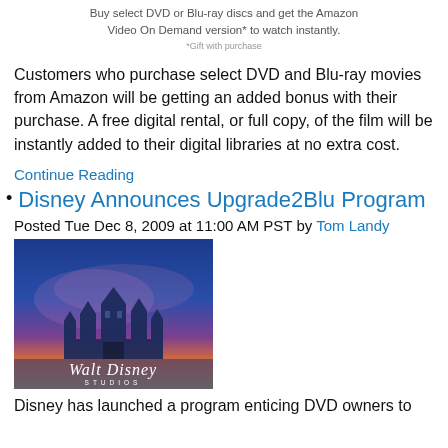Buy select DVD or Blu-ray discs and get the Amazon Video On Demand version* to watch instantly. *Gift with purchase
Customers who purchase select DVD and Blu-ray movies from Amazon will be getting an added bonus with their purchase. A free digital rental, or full copy, of the film will be instantly added to their digital libraries at no extra cost.
Continue Reading
Disney Announces Upgrade2Blu Program
Posted Tue Dec 8, 2009 at 11:00 AM PST by Tom Landy
[Figure (photo): Walt Disney Studios logo with castle silhouette against a colorful sky]
Disney has launched a program enticing DVD owners to